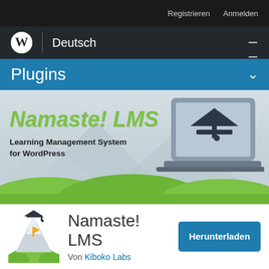Registrieren   Anmelden
[Figure (logo): WordPress logo with vertical divider and 'Deutsch' text, hamburger menu on right, on dark background nav bar]
Plugins
[Figure (illustration): Namaste! LMS plugin banner with green title text 'Namaste! LMS', subtitle 'Learning Management System for WordPress', laptop with graduation cap, mountain and green hills background]
[Figure (illustration): Namaste! LMS plugin icon: graduation cap on mountain peak with green hills]
Namaste! LMS
Von Kiboko Labs
Herunterladen